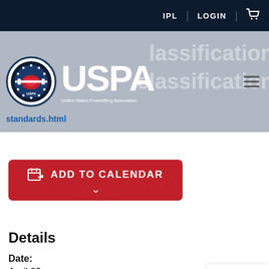IPL | LOGIN
[Figure (logo): USPA (United States Powerlifting Association) logo with circular emblem and text watermark showing 'classification' and URL 'standards.html']
ADD TO CALENDAR
Details
Date: April 23